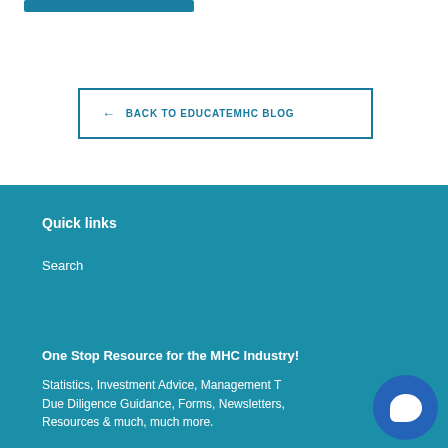← BACK TO EDUCATEMHC BLOG
Quick links
Search
One Stop Resource for the MHC Industry!
Statistics, Investment Advice, Management Tips, Due Diligence Guidance, Forms, Newsletters, Resources & much, much more.